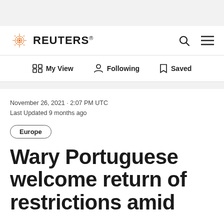REUTERS
My View  Following  Saved
November 26, 2021 · 2:07 PM UTC
Last Updated 9 months ago
Europe
Wary Portuguese welcome return of restrictions amid